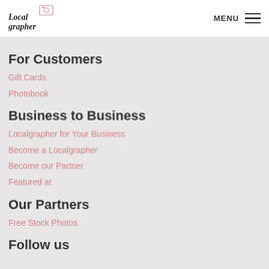Localgrapher MENU
For Customers
Gift Cards
Photobook
Business to Business
Localgrapher for Your Business
Become a Localgrapher
Become our Partner
Featured at
Our Partners
Free Stock Photos
Follow us